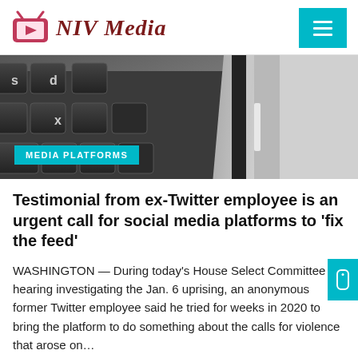NIV Media
[Figure (photo): Close-up photo of laptop keyboard keys (S, X, D visible) next to a tablet or phone edge, with a cyan 'MEDIA PLATFORMS' badge overlay at bottom left]
MEDIA PLATFORMS
Testimonial from ex-Twitter employee is an urgent call for social media platforms to 'fix the feed'
WASHINGTON — During today's House Select Committee hearing investigating the Jan. 6 uprising, an anonymous former Twitter employee said he tried for weeks in 2020 to bring the platform to do something about the calls for violence that arose on…